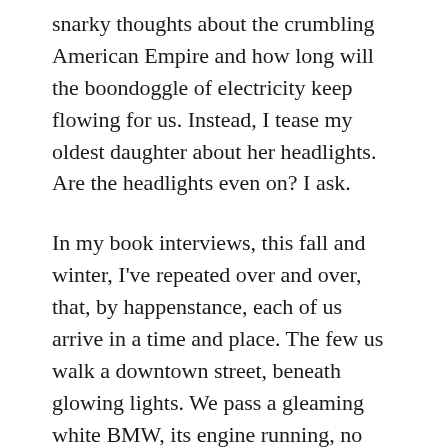snarky thoughts about the crumbling American Empire and how long will the boondoggle of electricity keep flowing for us. Instead, I tease my oldest daughter about her headlights. Are the headlights even on? I ask.
In my book interviews, this fall and winter, I've repeated over and over, that, by happenstance, each of us arrive in a time and place. The few us walk a downtown street, beneath glowing lights. We pass a gleaming white BMW, its engine running, no sign of a driver. A little further, I stop and read a sign at a creche, acknowledging the small figurines are on unceded Abenaki land.
The rain keeps falling in little bits. The youngest